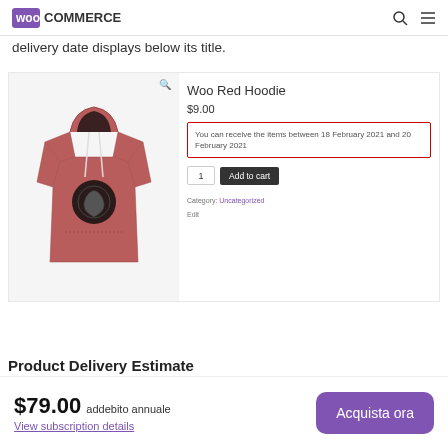WooCommerce navigation header
delivery date displays below its title.
[Figure (screenshot): WooCommerce product page screenshot showing 'Woo Red Hoodie' at $9.00 with a red-bordered delivery estimate box reading 'You can receive the items between 18 February 2021 and 20 February 2021', quantity selector, Add to cart button, and Category: Uncategorized metadata.]
Product Delivery Estimate
$79.00 addebito annuale
View subscription details
Acquista ora